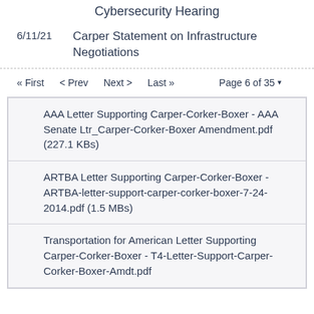Cybersecurity Hearing
6/11/21  Carper Statement on Infrastructure Negotiations
« First  < Prev  Next >  Last »  Page 6 of 35
| AAA Letter Supporting Carper-Corker-Boxer - AAA Senate Ltr_Carper-Corker-Boxer Amendment.pdf (227.1 KBs) |
| ARTBA Letter Supporting Carper-Corker-Boxer - ARTBA-letter-support-carper-corker-boxer-7-24-2014.pdf (1.5 MBs) |
| Transportation for American Letter Supporting Carper-Corker-Boxer - T4-Letter-Support-Carper-Corker-Boxer-Amdt.pdf |